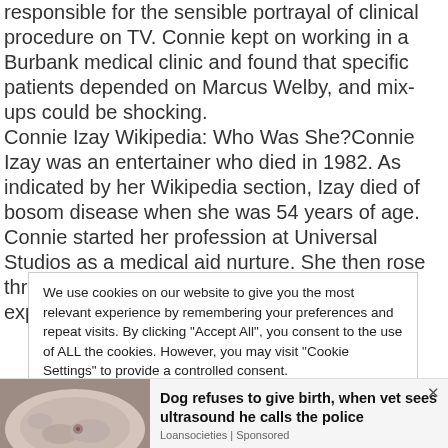responsible for the sensible portrayal of clinical procedure on TV. Connie kept on working in a Burbank medical clinic and found that specific patients depended on Marcus Welby, and mix-ups could be shocking.
Connie Izay Wikipedia: Who Was She?Connie Izay was an entertainer who died in 1982. As indicated by her Wikipedia section, Izay died of bosom disease when she was 54 years of age.
Connie started her profession at Universal Studios as a medical aid nurture. She then rose through the positions to turn into a specialized expert on clinical
We use cookies on our website to give you the most relevant experience by remembering your preferences and repeat visits. By clicking "Accept All", you consent to the use of ALL the cookies. However, you may visit "Cookie Settings" to provide a controlled consent.
[Figure (photo): Photo of a dog (light-colored, possibly a pig-like or wrinkled dog) lying down, shown in lower left of page as part of an advertisement.]
Dog refuses to give birth, when vet sees ultrasound he calls the police
Loansocieties | Sponsored